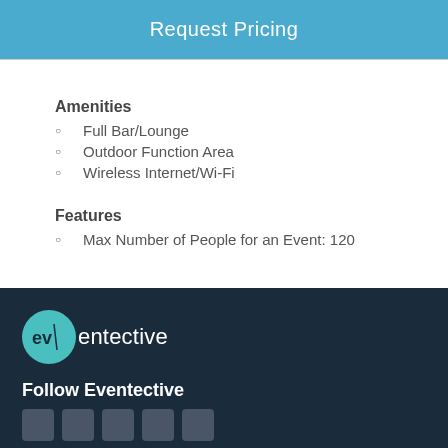Request Pricing
Amenities
Full Bar/Lounge
Outdoor Function Area
Wireless Internet/Wi-Fi
Features
Max Number of People for an Event: 120
[Figure (logo): Eventective logo — teal circle with 'ev' text followed by 'entective' in white on dark navy background]
Follow Eventective